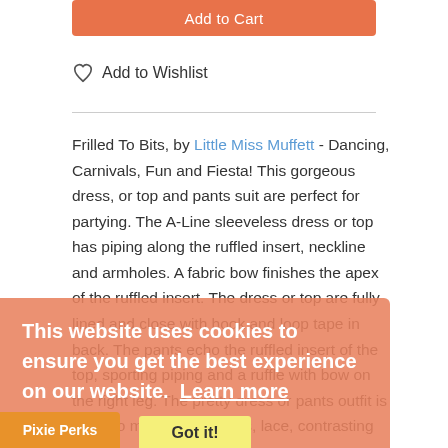Add to Cart
Add to Wishlist
Frilled To Bits, by Little Miss Muffett - Dancing, Carnivals, Fun and Fiesta! This gorgeous dress, or top and pants suit are perfect for partying. The A-Line sleeveless dress or top has piping along the ruffled insert, neckline and armholes. A fabric bow finishes the apex of the ruffled insert. The dress or top are fully lined and close with hook and loop tape in back. The pants echo the ruffled insert of the top, sporting piping and a ruffle with bow on the right leg. The pretty dress or pants outfit is quick to make; right florals, lace, contrasting piping,
This website uses cookies to ensure you get the best experience on our website.  Learn more
Got it!
Pixie Perks